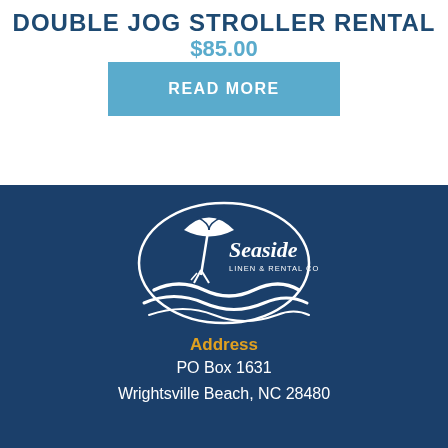DOUBLE JOG STROLLER RENTAL
$85.00
READ MORE
[Figure (logo): Seaside Linen & Rental Co. logo with beach umbrella and waves, white on dark blue background]
Address
PO Box 1631
Wrightsville Beach, NC 28480